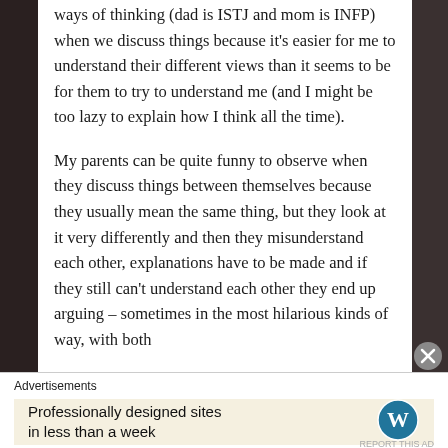ways of thinking (dad is ISTJ and mom is INFP) when we discuss things because it's easier for me to understand their different views than it seems to be for them to try to understand me (and I might be too lazy to explain how I think all the time).
My parents can be quite funny to observe when they discuss things between themselves because they usually mean the same thing, but they look at it very differently and then they misunderstand each other, explanations have to be made and if they still can't understand each other they end up arguing – sometimes in the most hilarious kinds of way, with both
Advertisements
Professionally designed sites in less than a week